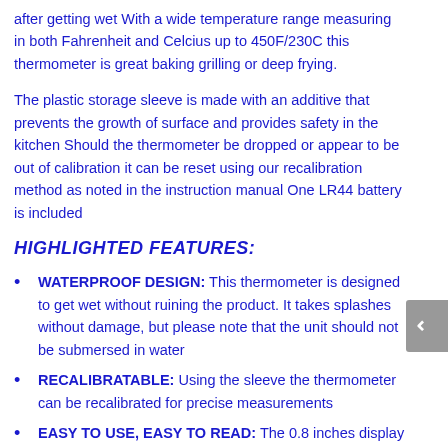after getting wet With a wide temperature range measuring in both Fahrenheit and Celcius up to 450F/230C this thermometer is great baking grilling or deep frying.
The plastic storage sleeve is made with an additive that prevents the growth of surface and provides safety in the kitchen Should the thermometer be dropped or appear to be out of calibration it can be reset using our recalibration method as noted in the instruction manual One LR44 battery is included
HIGHLIGHTED FEATURES:
WATERPROOF DESIGN: This thermometer is designed to get wet without ruining the product. It takes splashes without damage, but please note that the unit should not be submersed in water
RECALIBRATABLE: Using the sleeve the thermometer can be recalibrated for precise measurements
EASY TO USE, EASY TO READ: The 0.8 inches display is easily